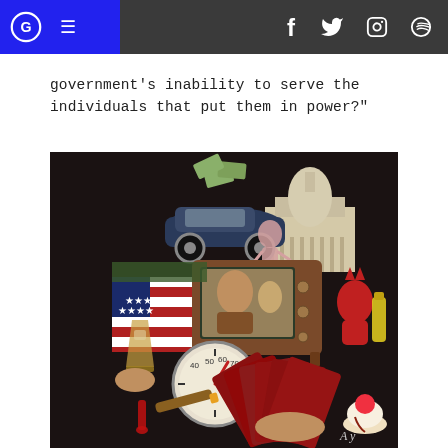Navigation bar with logo, hamburger menu, and social icons (Facebook, Twitter, Instagram, Spotify)
government's inability to serve the individuals that put them in power?”
[Figure (illustration): A vintage pop-art style collage on a dark background featuring: a classic 1950s car, the US Capitol building, a person with raised arm, an old television set showing hippie-era people, an American flag, a hand holding playing cards, a whiskey glass, a clock/gauge, a cigar, a red devil character, a hot fudge sundae, and other Americana imagery. Signed 'A y' at bottom right.]